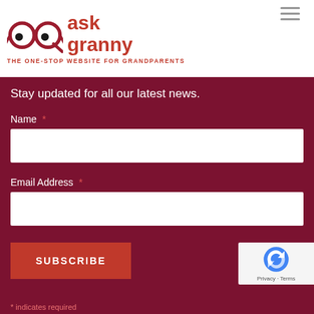[Figure (logo): Ask Granny logo with glasses icon and text 'ask granny', tagline 'THE ONE-STOP WEBSITE FOR GRANDPARENTS']
Stay updated for all our latest news.
Name *
Email Address *
SUBSCRIBE
* indicates required